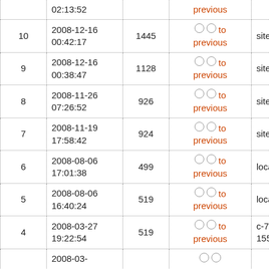| # | Date/Time | Size | Compare | Host |
| --- | --- | --- | --- | --- |
|  | 02:13:52 |  | ○ ○ to previous |  |
| 10 | 2008-12-16 00:42:17 | 1445 | ○ ○ to previous | sites |
| 9 | 2008-12-16 00:38:47 | 1128 | ○ ○ to previous | sites |
| 8 | 2008-11-26 07:26:52 | 926 | ○ ○ to previous | sites |
| 7 | 2008-11-19 17:58:42 | 924 | ○ ○ to previous | sites |
| 6 | 2008-08-06 17:01:38 | 499 | ○ ○ to previous | localhost |
| 5 | 2008-08-06 16:40:24 | 519 | ○ ○ to previous | localhost |
| 4 | 2008-03-27 19:22:54 | 519 | ○ ○ to previous | c-76-105-157-155 |
|  | 2008-03- |  | ○ ○ |  |